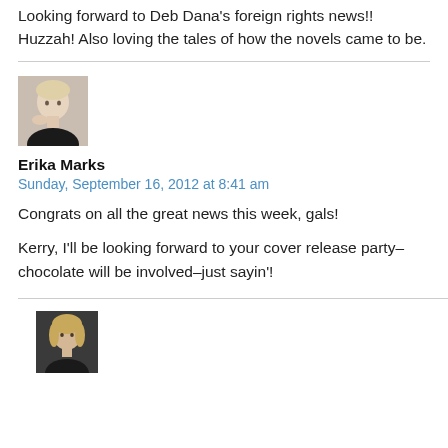Looking forward to Deb Dana's foreign rights news!! Huzzah! Also loving the tales of how the novels came to be.
[Figure (photo): Profile photo of Erika Marks, a blonde woman in a black top, resting her chin on her hand.]
Erika Marks
Sunday, September 16, 2012 at 8:41 am
Congrats on all the great news this week, gals!
Kerry, I'll be looking forward to your cover release party–chocolate will be involved–just sayin'!
[Figure (photo): Profile photo of a woman with light hair against a dark background.]